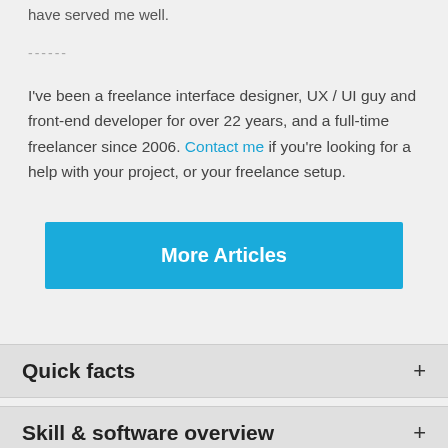have served me well.
------
I've been a freelance interface designer, UX / UI guy and front-end developer for over 22 years, and a full-time freelancer since 2006. Contact me if you're looking for a help with your project, or your freelance setup.
More Articles
Quick facts
Skill & software overview